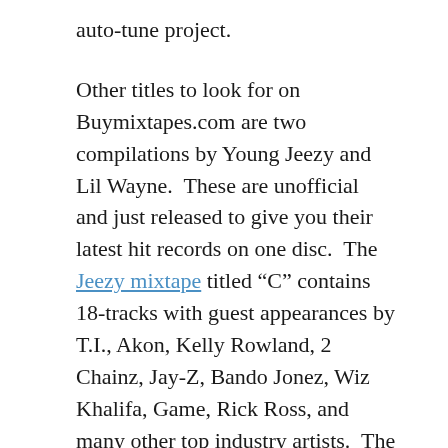auto-tune project.
Other titles to look for on Buymixtapes.com are two compilations by Young Jeezy and Lil Wayne.  These are unofficial and just released to give you their latest hit records on one disc.  The Jeezy mixtape titled “C” contains 18-tracks with guest appearances by T.I., Akon, Kelly Rowland, 2 Chainz, Jay-Z, Bando Jonez, Wiz Khalifa, Game, Rick Ross, and many other top industry artists.  The compilation titled “Loner” plays you popular music from Young Money’s Lil Wayne.  Features with the New Orleans emcee from Ludacris, Chris Brown, Drake, Super Hood, Big Sean, YG, Tyga, Rocko, Meek Mill, and other music superstars.